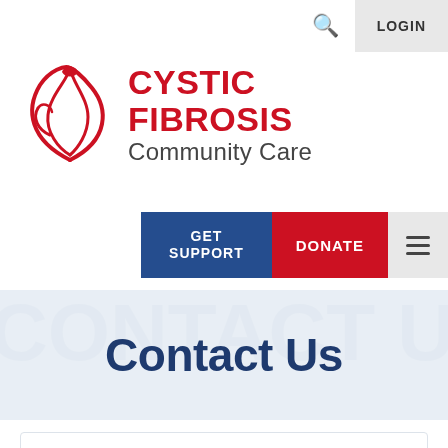LOGIN
[Figure (logo): Cystic Fibrosis Community Care logo with red rose/leaf emblem and text 'CYSTIC FIBROSIS Community Care']
GET SUPPORT
DONATE
Contact Us
Contact Us